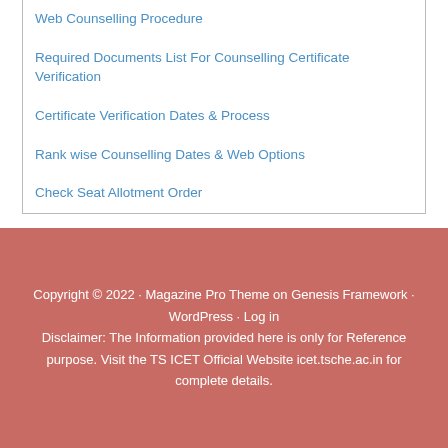Web Counselling Procedure
Required Documents List For Counselling Certificate Verification
Certificate Verification Dates & Process
Rank wise Counselling Dates & Web Options
Check Seat Allotment Order
Copyright © 2022 · Magazine Pro Theme on Genesis Framework · WordPress · Log in
Disclaimer: The Information provided here is only for Reference purpose. Visit the TS ICET Official Website icet.tsche.ac.in for complete details.